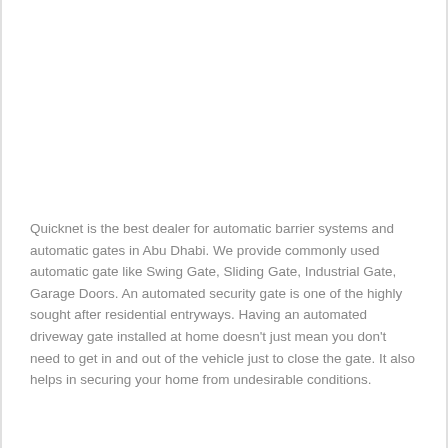Quicknet is the best dealer for automatic barrier systems and automatic gates in Abu Dhabi. We provide commonly used automatic gate like Swing Gate, Sliding Gate, Industrial Gate, Garage Doors. An automated security gate is one of the highly sought after residential entryways. Having an automated driveway gate installed at home doesn't just mean you don't need to get in and out of the vehicle just to close the gate. It also helps in securing your home from undesirable conditions.